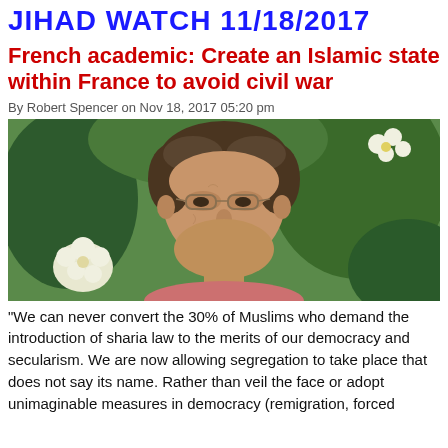JIHAD WATCH 11/18/2017
French academic: Create an Islamic state within France to avoid civil war
By Robert Spencer on Nov 18, 2017 05:20 pm
[Figure (photo): Portrait photo of a middle-aged man with curly dark hair and glasses, with white flowers and green foliage in the background]
“We can never convert the 30% of Muslims who demand the introduction of sharia law to the merits of our democracy and secularism. We are now allowing segregation to take place that does not say its name. Rather than veil the face or adopt unimaginable measures in democracy (remigration, forced